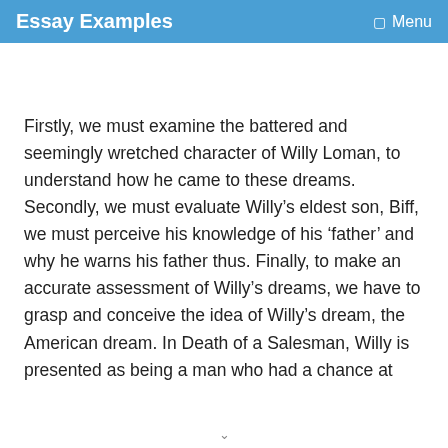Essay Examples  ☰ Menu
Firstly, we must examine the battered and seemingly wretched character of Willy Loman, to understand how he came to these dreams. Secondly, we must evaluate Willy's eldest son, Biff, we must perceive his knowledge of his 'father' and why he warns his father thus. Finally, to make an accurate assessment of Willy's dreams, we have to grasp and conceive the idea of Willy's dream, the American dream. In Death of a Salesman, Willy is presented as being a man who had a chance at